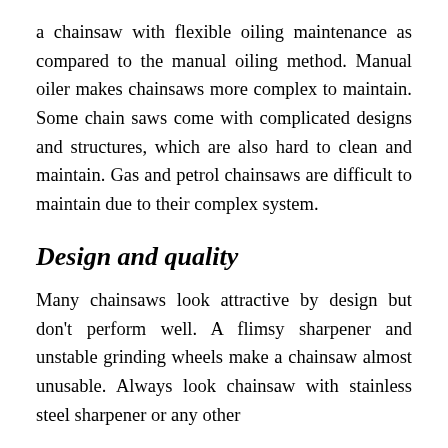a chainsaw with flexible oiling maintenance as compared to the manual oiling method. Manual oiler makes chainsaws more complex to maintain. Some chain saws come with complicated designs and structures, which are also hard to clean and maintain. Gas and petrol chainsaws are difficult to maintain due to their complex system.
Design and quality
Many chainsaws look attractive by design but don't perform well. A flimsy sharpener and unstable grinding wheels make a chainsaw almost unusable. Always look chainsaw with stainless steel sharpener or any other